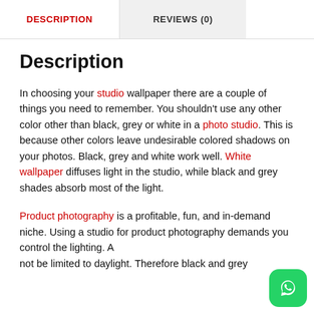DESCRIPTION | REVIEWS (0)
Description
In choosing your studio wallpaper there are a couple of things you need to remember. You shouldn't use any other color other than black, grey or white in a photo studio. This is because other colors leave undesirable colored shadows on your photos. Black, grey and white work well. White wallpaper diffuses light in the studio, while black and grey shades absorb most of the light.
Product photography is a profitable, fun, and in-demand niche. Using a studio for product photography demands you control the lighting. A [not be limited to daylight. Therefore black and grey]